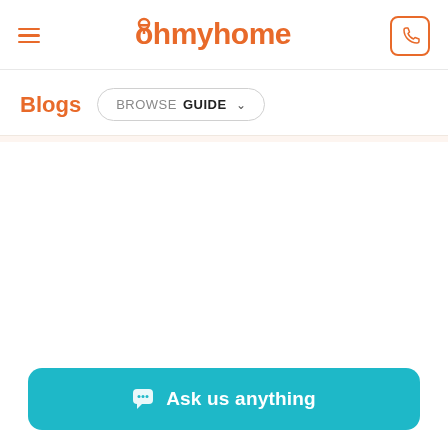Ohmyhome
Blogs
BROWSE GUIDE
[Figure (screenshot): Empty white content area below navigation]
Ask us anything